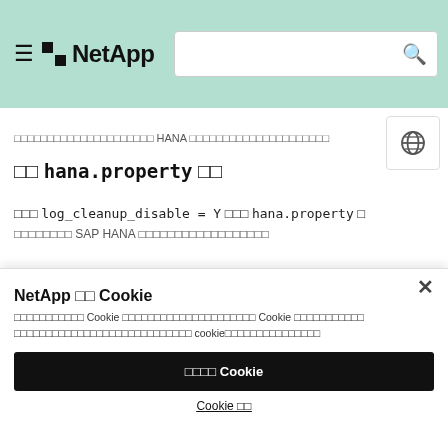NetApp — navigation bar with logo and search
□□□□□□□□□□□□□□□□□□□□□ HANA □□□□□□□□□□□□□□□□□□□□□
□□ hana.property □□
□□□ log_cleanup_disable = Y □□□ hana.property □ □□□□□□□□ SAP HANA □□□□□□□□□□□□□□□□□□
NetApp □□ Cookie
□□□□□□□□□□□ Cookie □□□□□□□□□□□□□□□□□□□□□ Cookie □□□□□□□□□□□ □□□□□□□□□□□□□□□□□□□□□□□□□□□□ cookie□□□□□□□□□□□□□□□
□□□□ Cookie
Cookie □□